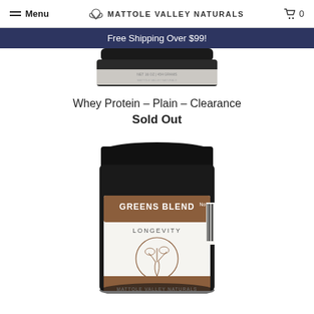Menu | MATTOLE VALLEY NATURALS | 0
Free Shipping Over $99!
[Figure (photo): Top portion of a dark product jar from Mattole Valley Naturals, showing the bottom of the label]
Whey Protein - Plain - Clearance
Sold Out
[Figure (photo): Dark jar labeled 'Greens Blend No 3 Longevity Herbal Greens Tonic' by Mattole Valley Naturals with herbal illustration on label]